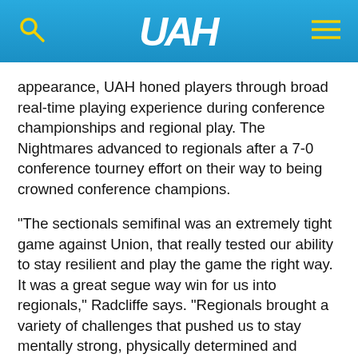UAH
appearance, UAH honed players through broad real-time playing experience during conference championships and regional play. The Nightmares advanced to regionals after a 7-0 conference tourney effort on their way to being crowned conference champions.
"The sectionals semifinal was an extremely tight game against Union, that really tested our ability to stay resilient and play the game the right way. It was a great segue way win for us into regionals," Radcliffe says. "Regionals brought a variety of challenges that pushed us to stay mentally strong, physically determined and hungry for every point. We pushed the characteristic of humility, to know that no matter